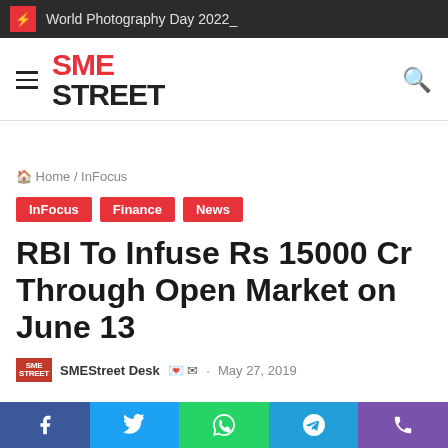World Photography Day 2022_
[Figure (logo): SME Street logo with hamburger menu and search icon]
Home / InFocus
InFocus   Finance   News
RBI To Infuse Rs 15000 Cr Through Open Market on June 13
SMEStreet Desk   ·   May 27, 2019